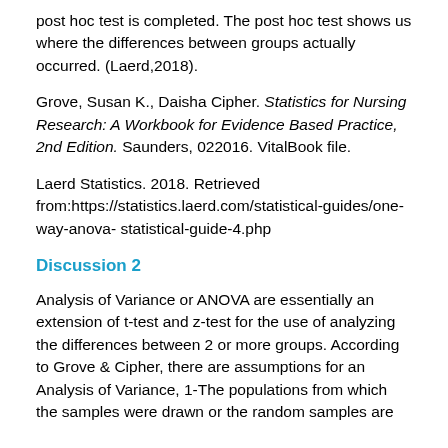post hoc test is completed. The post hoc test shows us where the differences between groups actually occurred. (Laerd,2018).
Grove, Susan K., Daisha Cipher. Statistics for Nursing Research: A Workbook for Evidence Based Practice, 2nd Edition. Saunders, 022016. VitalBook file.
Laerd Statistics. 2018. Retrieved from:https://statistics.laerd.com/statistical-guides/one-way-anova- statistical-guide-4.php
Discussion 2
Analysis of Variance or ANOVA are essentially an extension of t-test and z-test for the use of analyzing the differences between 2 or more groups. According to Grove & Cipher, there are assumptions for an Analysis of Variance, 1-The populations from which the samples were drawn or the random samples are